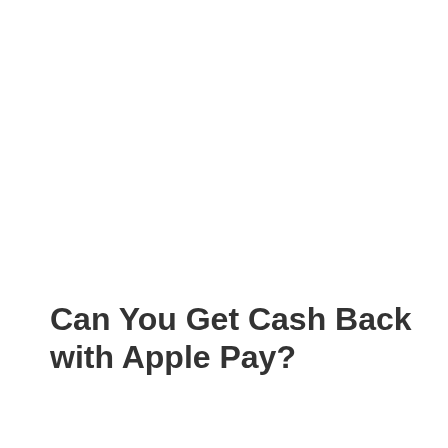Can You Get Cash Back with Apple Pay?